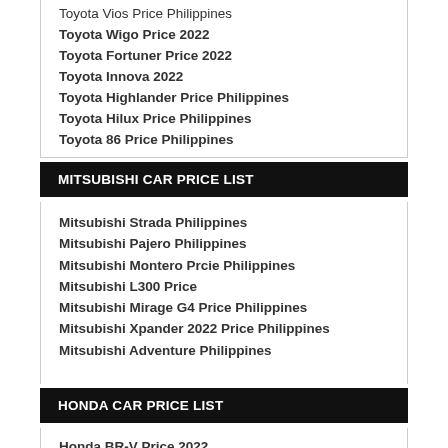Toyota Vios Price Philippines
Toyota Wigo Price 2022
Toyota Fortuner Price 2022
Toyota Innova 2022
Toyota Highlander Price Philippines
Toyota Hilux Price Philippines
Toyota 86 Price Philippines
MITSUBISHI CAR PRICE LIST
Mitsubishi Strada Philippines
Mitsubishi Pajero Philippines
Mitsubishi Montero Prcie Philippines
Mitsubishi L300 Price
Mitsubishi Mirage G4 Price Philippines
Mitsubishi Xpander 2022 Price Philippines
Mitsubishi Adventure Philippines
HONDA CAR PRICE LIST
Honda BR-V Price 2022